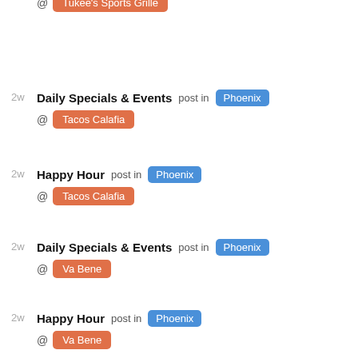@ Tukee's Sports Grille
2w Daily Specials & Events post in Phoenix @ Tacos Calafia
2w Happy Hour post in Phoenix @ Tacos Calafia
2w Daily Specials & Events post in Phoenix @ Va Bene
2w Happy Hour post in Phoenix @ Va Bene
2w Daily Specials & Events post in Phoenix @ Arriba Mexican Grill